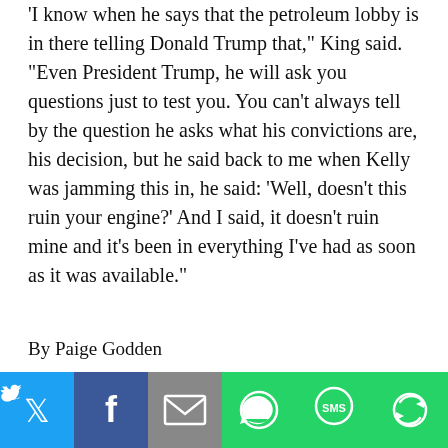'I know when he says that the petroleum lobby is in there telling Donald Trump that,' King said. 'Even President Trump, he will ask you questions just to test you. You can't always tell by the question he asks what his convictions are, his decision, but he said back to me when Kelly was jamming this in, he said: 'Well, doesn't this ruin your engine?' And I said, it doesn't ruin mine and it's been in everything I've had as soon as it was available.'
By Paige Godden
Posted 9/16/19
[Figure (infographic): Social media sharing buttons: Twitter (blue), Facebook (dark blue), Email (grey), WhatsApp (green), SMS (green), More (green)]